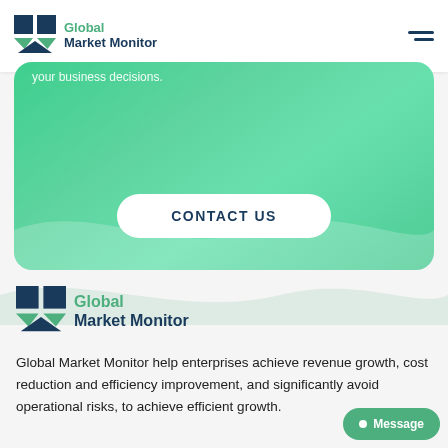Global Market Monitor
[Figure (screenshot): Global Market Monitor website screenshot showing navigation bar with logo and hamburger menu, a green gradient banner with partial text 'your business decisions.' and a CONTACT US button, followed by the footer logo and company description text.]
your business decisions.
CONTACT US
Global Market Monitor
Global Market Monitor help enterprises achieve revenue growth, cost reduction and efficiency improvement, and significantly avoid operational risks, to achieve efficient growth.